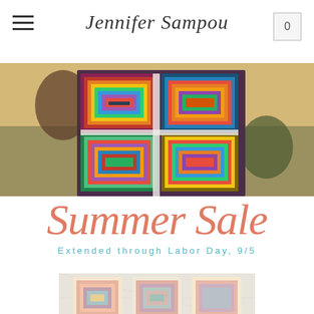Jennifer Sampou — navigation header with hamburger menu and cart button (0)
[Figure (photo): Two women holding up a large colorful geometric quilt with concentric squares in rainbow colors, standing by water at sunset]
Summer Sale
Extended through Labor Day, 9/5
[Figure (photo): Bottom portion showing colorful log-cabin style quilts in pastel/pink tones on a patterned background, partially visible]